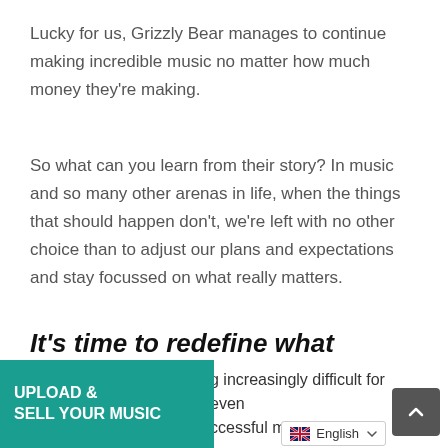Lucky for us, Grizzly Bear manages to continue making incredible music no matter how much money they're making.
So what can you learn from their story? In music and so many other arenas in life, when the things that should happen don't, we're left with no other choice than to adjust our plans and expectations and stay focussed on what really matters.
It’s time to redefine what “making it” in music means
g increasingly difficult for even
ccessful musicia